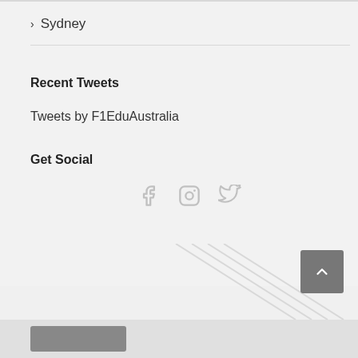> Sydney
Recent Tweets
Tweets by F1EduAustralia
Get Social
[Figure (other): Social media icons: Facebook, Instagram, Twitter]
[Figure (other): Diagonal stripe decorative element and scroll-to-top button]